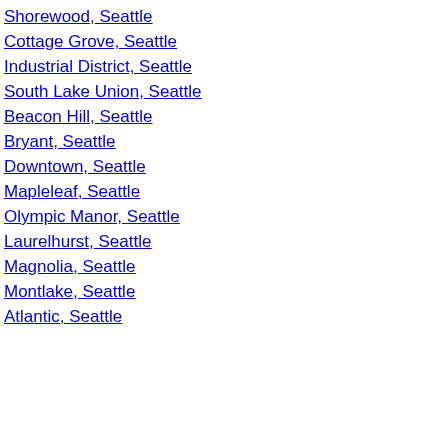Shorewood, Seattle
Cottage Grove, Seattle
Industrial District, Seattle
South Lake Union, Seattle
Beacon Hill, Seattle
Bryant, Seattle
Downtown, Seattle
Mapleleaf, Seattle
Olympic Manor, Seattle
Laurelhurst, Seattle
Magnolia, Seattle
Montlake, Seattle
Atlantic, Seattle